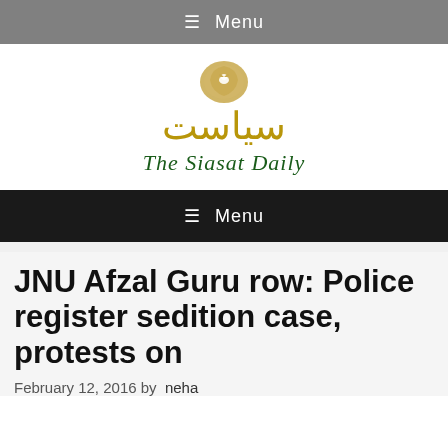≡ Menu
[Figure (logo): The Siasat Daily logo with Urdu script in gold/amber color and English name in dark green italic serif font, with a small bird icon in a golden arch above]
≡ Menu
JNU Afzal Guru row: Police register sedition case, protests on
February 12, 2016 by neha